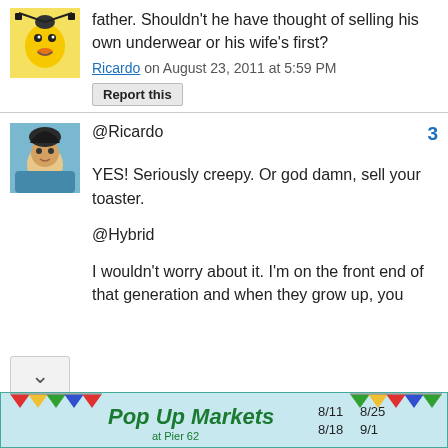father. Shouldn't he have thought of selling his own underwear or his wife's first?
Ricardo on August 23, 2011 at 5:59 PM
Report this
@Ricardo
3
YES! Seriously creepy. Or god damn, sell your toaster.
@Hybrid
I wouldn't worry about it. I'm on the front end of that generation and when they grow up, you
[Figure (illustration): Pop Up Markets at Pier 62 advertisement banner with dates 8/11, 8/25, 8/18, 9/1]